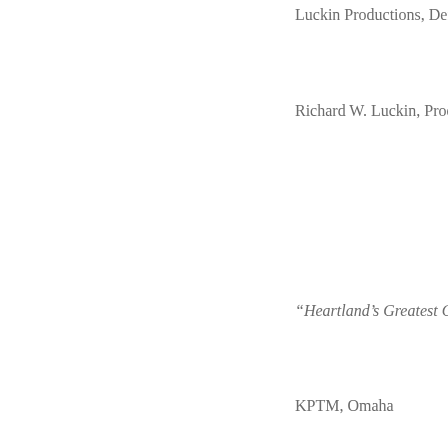Luckin Productions, Denve
Richard W. Luckin, Produc
“Heartland’s Greatest Gen
KPTM, Omaha
Mike Wallace, Producer
Category 15C, Documenta